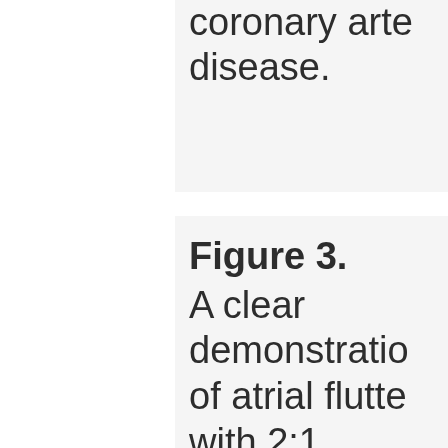coronary artery disease.
Figure 3. A clear demonstration of atrial flutter with 2:1 conduction revealed after ICD analysis (cont.) Atri...